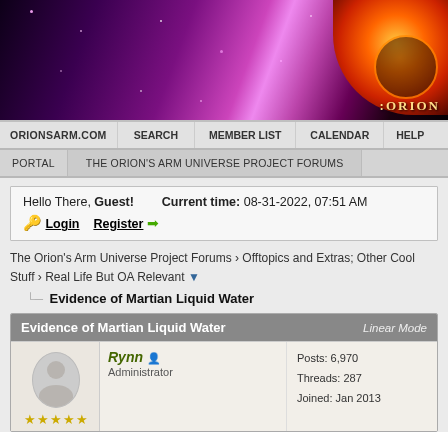[Figure (illustration): Orion's Arm website banner with purple/pink nebula background and orange glowing orb logo in top right corner with text ':ORION']
ORIONSARM.COM | SEARCH | MEMBER LIST | CALENDAR | HELP
PORTAL | THE ORION'S ARM UNIVERSE PROJECT FORUMS
Hello There, Guest!   Current time: 08-31-2022, 07:51 AM
🔑 Login  Register ➡
The Orion's Arm Universe Project Forums › Offtopics and Extras; Other Cool Stuff › Real Life But OA Relevant ▼
Evidence of Martian Liquid Water
| Evidence of Martian Liquid Water | Linear Mode |
| --- | --- |
| Rynn (offline) Administrator ★★★★★ | Posts: 6,970
Threads: 287
Joined: Jan 2013 |